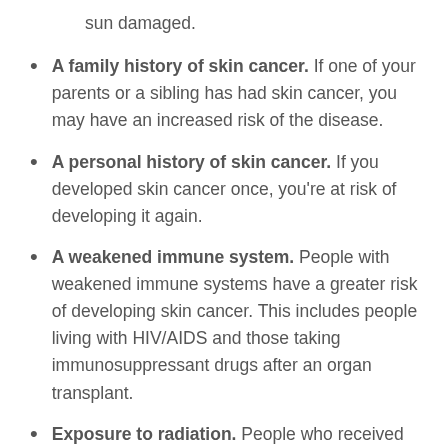sun damaged.
A family history of skin cancer. If one of your parents or a sibling has had skin cancer, you may have an increased risk of the disease.
A personal history of skin cancer. If you developed skin cancer once, you’re at risk of developing it again.
A weakened immune system. People with weakened immune systems have a greater risk of developing skin cancer. This includes people living with HIV/AIDS and those taking immunosuppressant drugs after an organ transplant.
Exposure to radiation. People who received